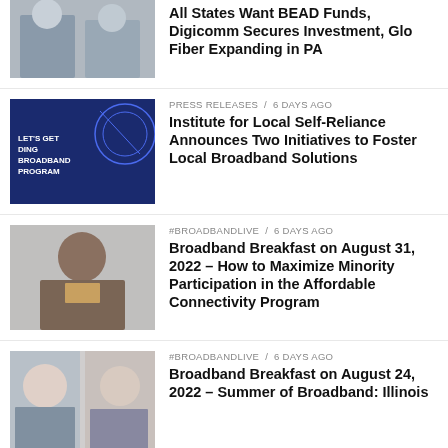[Figure (photo): Two men in suits seated at a table, conference setting]
All States Want BEAD Funds, Digicomm Secures Investment, Glo Fiber Expanding in PA
[Figure (photo): Blue banner graphic for broadband funding program]
PRESS RELEASES / 6 days ago
Institute for Local Self-Reliance Announces Two Initiatives to Foster Local Broadband Solutions
[Figure (photo): Man in suit speaking at event]
#BROADBANDLIVE / 6 days ago
Broadband Breakfast on August 31, 2022 – How to Maximize Minority Participation in the Affordable Connectivity Program
[Figure (photo): Two men smiling in suits]
#BROADBANDLIVE / 6 days ago
Broadband Breakfast on August 24, 2022 – Summer of Broadband: Illinois
[Figure (photo): Panel of people seated at a table in dark setting]
INFRASTRUCTURE / 7 days ago
Panelists Take Issue with Government Preference for Fiber